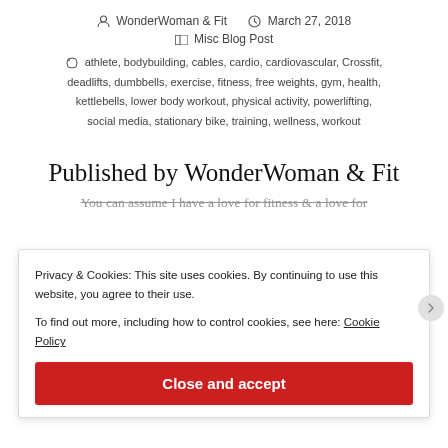WonderWoman & Fit   March 27, 2018
Misc Blog Post
athlete, bodybuilding, cables, cardio, cardiovascular, Crossfit, deadlifts, dumbbells, exercise, fitness, free weights, gym, health, kettlebells, lower body workout, physical activity, powerlifting, social media, stationary bike, training, wellness, workout
Published by WonderWoman & Fit
You can assume I have a love for fitness & a love for
Privacy & Cookies: This site uses cookies. By continuing to use this website, you agree to their use.
To find out more, including how to control cookies, see here: Cookie Policy
Close and accept